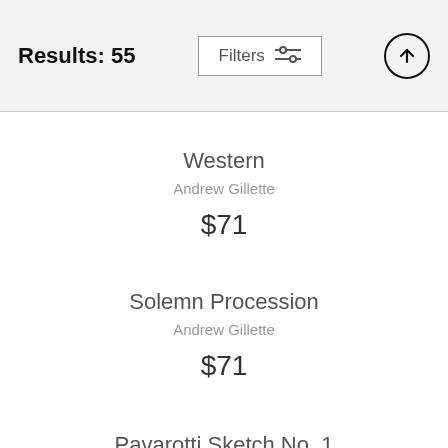Results: 55
Filters
Western
Andrew Gillette
$71
Solemn Procession
Andrew Gillette
$71
Pavarotti Sketch No. 1
Andrew Gillette